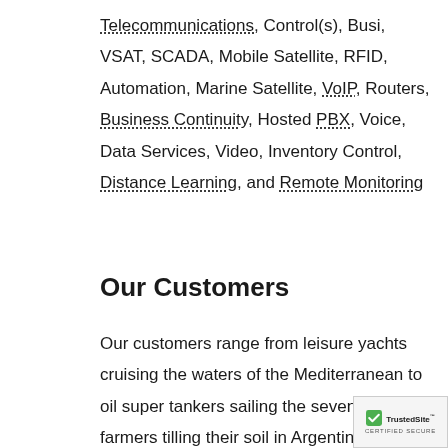Telecommunications, Control(s), Busi, VSAT, SCADA, Mobile Satellite, RFID, Automation, Marine Satellite, VoIP, Routers, Business Continuity, Hosted PBX, Voice, Data Services, Video, Inventory Control, Distance Learning, and Remote Monitoring
Our Customers
Our customers range from leisure yachts cruising the waters of the Mediterranean to oil super tankers sailing the seven seas; farmers tilling their soil in Argentina, Canada, Michigan or China to scientist in the Antarctic, or